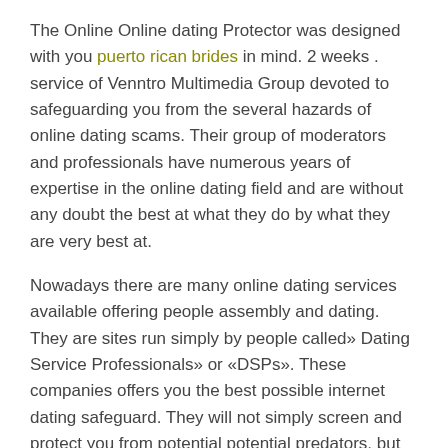The Online Online dating Protector was designed with you puerto rican brides in mind. 2 weeks . service of Venntro Multimedia Group devoted to safeguarding you from the several hazards of online dating scams. Their group of moderators and professionals have numerous years of expertise in the online dating field and are without any doubt the best at what they do by what they are very best at.
Nowadays there are many online dating services available offering people assembly and dating. They are sites run simply by people called» Dating Service Professionals» or «DSPs». These companies offers you the best possible internet dating safeguard. They will not simply screen and protect you from potential potential predators, but they also make it easy for you to get to know other affiliates of the internet site.
The Online Online dating Protector can be an online online dating protection system that is offered by a company called Venntro Marketing Group. This kind of service will continue to